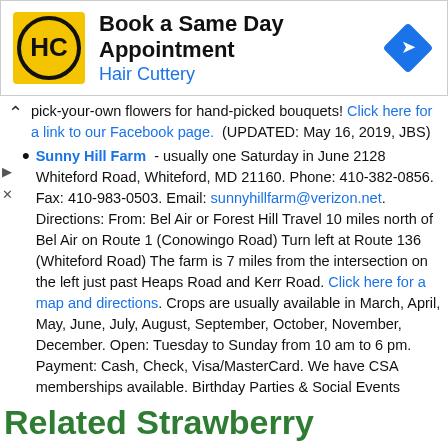[Figure (logo): Hair Cuttery advertisement banner with HC logo, 'Book a Same Day Appointment' heading, 'Hair Cuttery' brand name in blue, and a blue diamond arrow icon on the right.]
pick-your-own flowers for hand-picked bouquets! Click here for a link to our Facebook page. (UPDATED: May 16, 2019, JBS)
Sunny Hill Farm - usually one Saturday in June 2128 Whiteford Road, Whiteford, MD 21160. Phone: 410-382-0856. Fax: 410-983-0503. Email: sunnyhillfarm@verizon.net. Directions: From: Bel Air or Forest Hill Travel 10 miles north of Bel Air on Route 1 (Conowingo Road) Turn left at Route 136 (Whiteford Road) The farm is 7 miles from the intersection on the left just past Heaps Road and Kerr Road. Click here for a map and directions. Crops are usually available in March, April, May, June, July, August, September, October, November, December. Open: Tuesday to Sunday from 10 am to 6 pm. Payment: Cash, Check, Visa/MasterCard. We have CSA memberships available. Birthday Parties & Social Events
Related Strawberry